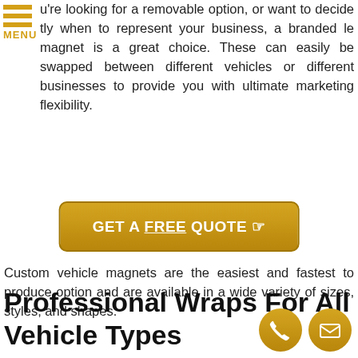[Figure (illustration): Hamburger menu icon with three horizontal gold bars and MENU text label in gold]
u're looking for a removable option, or want to decide tly when to represent your business, a branded le magnet is a great choice. These can easily be swapped between different vehicles or different businesses to provide you with ultimate marketing flexibility.
Custom vehicle magnets are the easiest and fastest to produce option and are available in a wide variety of sizes, styles, and shapes.
[Figure (other): Gold rounded rectangle button with white bold text: GET A FREE QUOTE with a hand pointer icon]
Professional Wraps For All Vehicle Types
[Figure (other): Two gold circular contact icons: a phone handset icon and an envelope/mail icon]